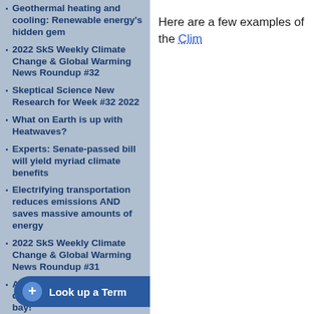Geothermal heating and cooling: Renewable energy's hidden gem
2022 SkS Weekly Climate Change & Global Warming News Roundup #32
Skeptical Science New Research for Week #32 2022
What on Earth is up with Heatwaves?
Experts: Senate-passed bill will yield myriad climate benefits
Electrifying transportation reduces emissions AND saves massive amounts of energy
2022 SkS Weekly Climate Change & Global Warming News Roundup #31
A Cranky Uncle Cartoon a day, keeps misinformation at bay!
Skeptical Science New Research for Week #31 2022
How not to solve the climate change problem
How likely would Britain's 40°C heatwave have been without climate change?
Record rain in St. Louis is what climate change looks like
2022 SkS Weekly Climate Change & Global Warming News Roundup #...
Here are a few examples of the Clim...